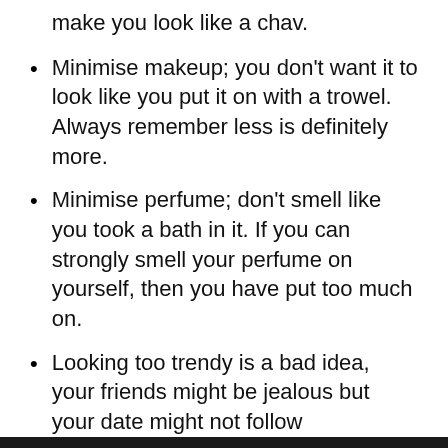make you look like a chav.
Minimise makeup; you don't want it to look like you put it on with a trowel. Always remember less is definitely more.
Minimise perfume; don't smell like you took a bath in it. If you can strongly smell your perfume on yourself, then you have put too much on.
Looking too trendy is a bad idea, your friends might be jealous but your date might not follow
We use cookies
We use cookies and other tracking technologies to improve your browsing experience on our website, to show you personalized content and targeted ads, to analyze our website traffic, and to understand where our visitors are coming from.